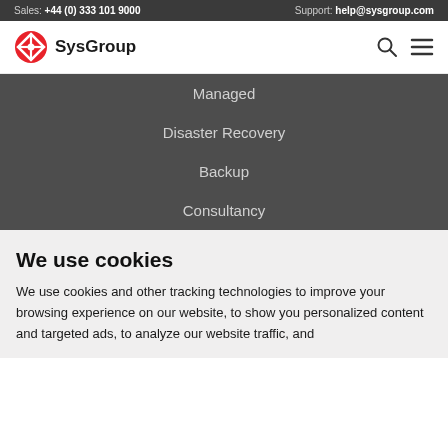Sales: +44 (0) 333 101 9000   Support: help@sysgroup.com
[Figure (logo): SysGroup logo with red diamond icon and bold SysGroup text]
Managed
Disaster Recovery
Backup
Consultancy
We use cookies
We use cookies and other tracking technologies to improve your browsing experience on our website, to show you personalized content and targeted ads, to analyze our website traffic, and